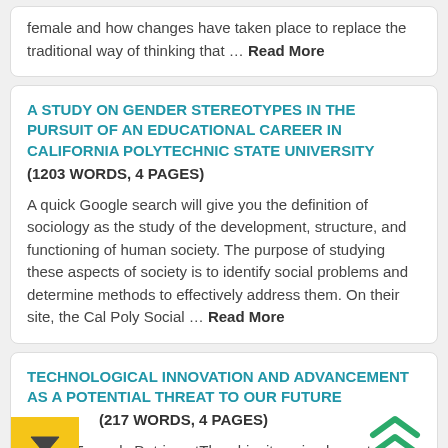female and how changes have taken place to replace the traditional way of thinking that … Read More
A STUDY ON GENDER STEREOTYPES IN THE PURSUIT OF AN EDUCATIONAL CAREER IN CALIFORNIA POLYTECHNIC STATE UNIVERSITY
(1203 WORDS, 4 PAGES)
A quick Google search will give you the definition of sociology as the study of the development, structure, and functioning of human society. The purpose of studying these aspects of society is to identify social problems and determine methods to effectively address them. On their site, the Cal Poly Social … Read More
TECHNOLOGICAL INNOVATION AND ADVANCEMENT AS A POTENTIAL THREAT TO OUR FUTURE
(217 WORDS, 4 PAGES)
Driven Towards DetrimentThe ubiquitous implementation